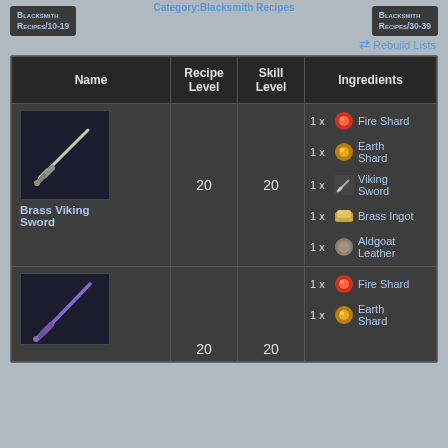Category:Blacksmith Recipes
Blacksmith Recipes/10-19
Blacksmith Recipes/30-39
Rebuild Lists
| Name | Recipe Level | Skill Level | Ingredients |
| --- | --- | --- | --- |
| Brass Viking Sword | 20 | 20 | 1x Fire Shard, 1x Earth Shard, 1x Viking Sword, 1x Brass Ingot, 1x Aldgoat Leather |
| (next item) | 20 | 20 | 1x Fire Shard, 1x Earth Shard |